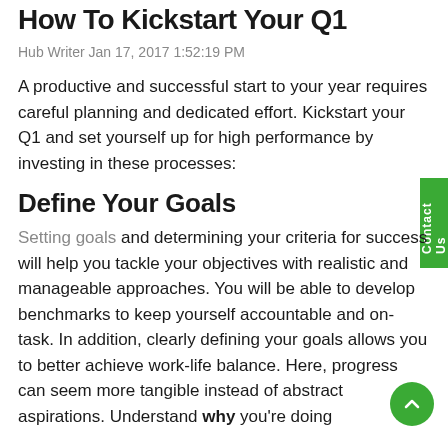How To Kickstart Your Q1
Hub Writer Jan 17, 2017 1:52:19 PM
A productive and successful start to your year requires careful planning and dedicated effort. Kickstart your Q1 and set yourself up for high performance by investing in these processes:
Define Your Goals
Setting goals and determining your criteria for success will help you tackle your objectives with realistic and manageable approaches. You will be able to develop benchmarks to keep yourself accountable and on-task. In addition, clearly defining your goals allows you to better achieve work-life balance. Here, progress can seem more tangible instead of abstract aspirations. Understand why you're doing